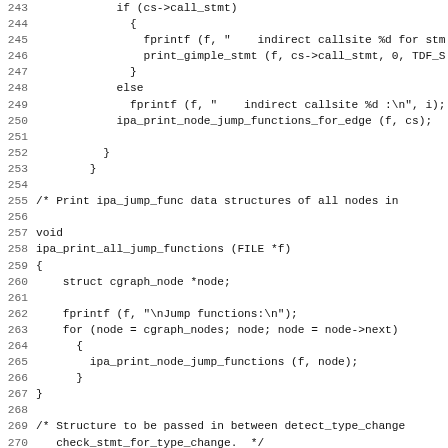Source code listing, lines 243–274
243			if (cs->call_stmt)
244			{
245				fprintf (f, "    indirect callsite %d for stm
246				print_gimple_stmt (f, cs->call_stmt, 0, TDF_S
247				}
248			else
249				fprintf (f, "    indirect callsite %d :\n", i);
250			ipa_print_node_jump_functions_for_edge (f, cs);
251
252			}
253		}
254
255	/* Print ipa_jump_func data structures of all nodes in
256
257	void
258	ipa_print_all_jump_functions (FILE *f)
259	{
260		struct cgraph_node *node;
261
262		fprintf (f, "\nJump functions:\n");
263		for (node = cgraph_nodes; node; node = node->next)
264			{
265				ipa_print_node_jump_functions (f, node);
266			}
267	}
268
269	/* Structure to be passed in between detect_type_change
270		check_stmt_for_type_change.  */
271
272	struct type_change_info
273	{
274		/* Offset into the object where there is the virtual